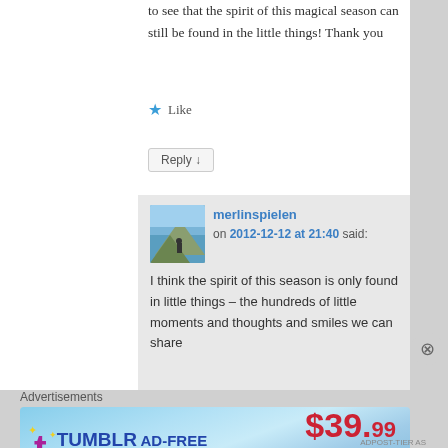to see that the spirit of this magical season can still be found in the little things! Thank you
★ Like
Reply ↓
merlinspielen on 2012-12-12 at 21:40 said:
I think the spirit of this season is only found in little things – the hundreds of little moments and thoughts and smiles we can share
Advertisements
[Figure (other): Tumblr Ad-Free Browsing advertisement banner: $39.99 a year or $4.99 a month]